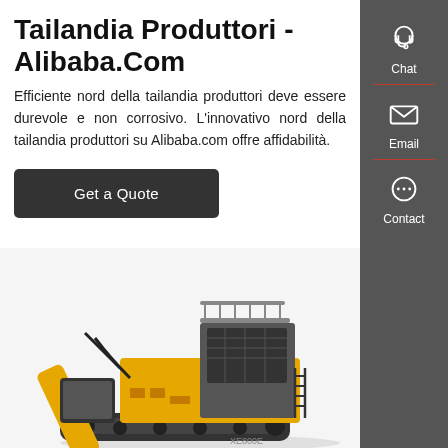Tailandia Produttori - Alibaba.Com
Efficiente nord della tailandia produttori deve essere durevole e non corrosivo. L'innovativo nord della tailandia produttori su Alibaba.com offre affidabilità.
[Figure (other): Dark button labeled 'Get a Quote']
[Figure (photo): Large yellow industrial mining excavator/shovel machine photographed from ground level, showing the upper cab structure and boom arm with hydraulic components.]
[Figure (infographic): Sidebar with three icons and labels: Chat (headset icon), Email (envelope icon), Contact (speech bubble icon), on dark grey background with red dividers.]